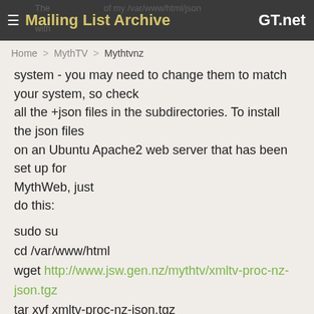≡ Mailing List Archive GT.net
Home > MythTV > Mythtvnz
system - you may need to change them to match your system, so check
all the +json files in the subdirectories. To install the json files on an Ubuntu Apache2 web server that has been set up for MythWeb, just
do this:
sudo su
cd /var/www/html
wget http://www.jsw.gen.nz/mythtv/xmltv-proc-nz-json.tgz
tar xvf xmltv-proc-nz-json.tgz
rm xmltv-proc-nz-json.tgz
exit
Here is the changelog:
0.6.0 JSW
- Convert to Python 3.